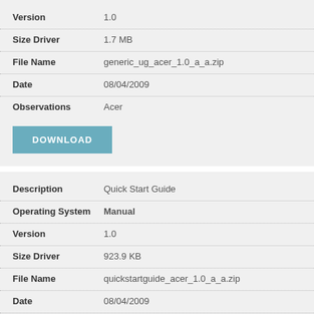| Field | Value |
| --- | --- |
| Version | 1.0 |
| Size Driver | 1.7 MB |
| File Name | generic_ug_acer_1.0_a_a.zip |
| Date | 08/04/2009 |
| Observations | Acer |
DOWNLOAD
| Field | Value |
| --- | --- |
| Description | Quick Start Guide |
| Operating System | Manual |
| Version | 1.0 |
| Size Driver | 923.9 KB |
| File Name | quickstartguide_acer_1.0_a_a.zip |
| Date | 08/04/2009 |
| Observations | Acer |